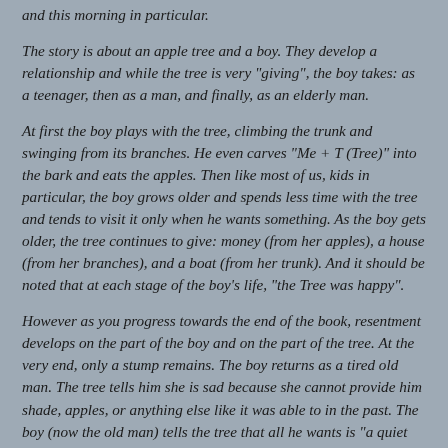and this morning in particular.
The story is about an apple tree and a boy. They develop a relationship and while the tree is very "giving", the boy takes: as a teenager, then as a man, and finally, as an elderly man.
At first the boy plays with the tree, climbing the trunk and swinging from its branches. He even carves "Me + T (Tree)" into the bark and eats the apples. Then like most of us, kids in particular, the boy grows older and spends less time with the tree and tends to visit it only when he wants something. As the boy gets older, the tree continues to give: money (from her apples), a house (from her branches), and a boat (from her trunk). And it should be noted that at each stage of the boy's life, "the Tree was happy".
However as you progress towards the end of the book, resentment develops on the part of the boy and on the part of the tree. At the very end, only a stump remains. The boy returns as a tired old man. The tree tells him she is sad because she cannot provide him shade, apples, or anything else like it was able to in the past. The boy (now the old man) tells the tree that all he wants is "a quiet place to sit and rest." So the tree gives once more, a final time.